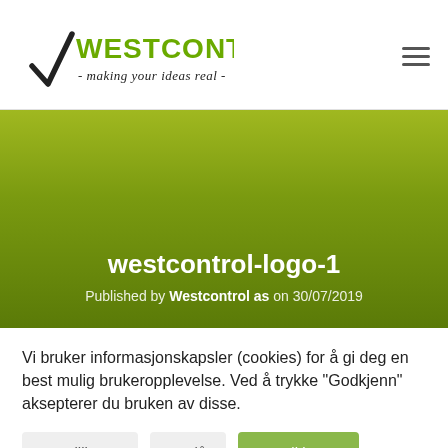[Figure (logo): Westcontrol logo with checkmark/radical symbol and tagline 'making your ideas real']
westcontrol-logo-1
Published by Westcontrol as on 30/07/2019
Vi bruker informasjonskapsler (cookies) for å gi deg en best mulig brukeropplevelse. Ved å trykke "Godkjenn" aksepterer du bruken av disse.